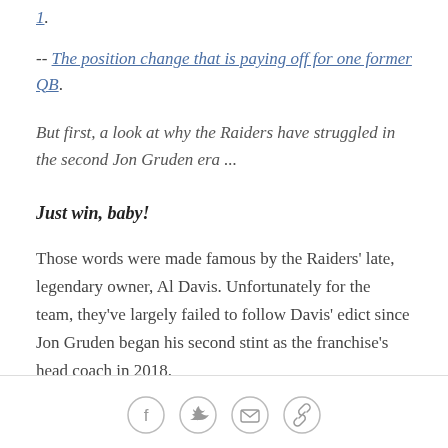1.
-- The position change that is paying off for one former QB.
But first, a look at why the Raiders have struggled in the second Jon Gruden era ...
Just win, baby!
Those words were made famous by the Raiders' late, legendary owner, Al Davis. Unfortunately for the team, they've largely failed to follow Davis' edict since Jon Gruden began his second stint as the franchise's head coach in 2018.
[Figure (other): Social media sharing icons: Facebook, Twitter, Email, Link]